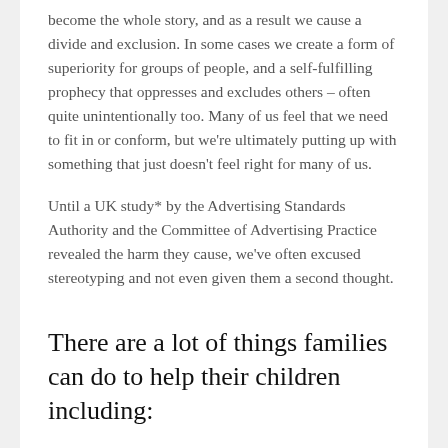become the whole story, and as a result we cause a divide and exclusion. In some cases we create a form of superiority for groups of people, and a self-fulfilling prophecy that oppresses and excludes others – often quite unintentionally too. Many of us feel that we need to fit in or conform, but we're ultimately putting up with something that just doesn't feel right for many of us.
Until a UK study* by the Advertising Standards Authority and the Committee of Advertising Practice revealed the harm they cause, we've often excused stereotyping and not even given them a second thought.
There are a lot of things families can do to help their children including: